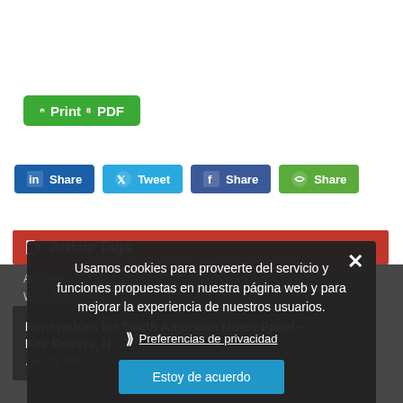[Figure (screenshot): Green Print/PDF button with printer and PDF icons]
[Figure (screenshot): Social share buttons row: LinkedIn Share, Twitter Tweet, Facebook Share, Share (green)]
Article Tags
Australia...
West Africa...
Renewables for South American Mines Panel – Key Drivers, N... ...es for IPPs
[Figure (screenshot): Cookie consent modal overlay in Spanish: 'Usamos cookies para proveerte del servicio y funciones propuestas en nuestra página web y para mejorar la experiencia de nuestros usuarios.' with 'Preferencias de privacidad' link and 'Estoy de acuerdo' button]